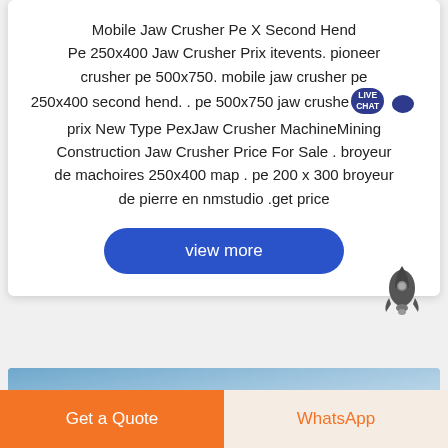Mobile Jaw Crusher Pe X Second Hend Pe 250x400 Jaw Crusher Prix itevents. pioneer crusher pe 500x750. mobile jaw crusher pe 250x400 second hend. . pe 500x750 jaw crusher prix New Type PexJaw Crusher MachineMining Construction Jaw Crusher Price For Sale . broyeur de machoires 250x400 map . pe 200 x 300 broyeur de pierre en nmstudio .get price
[Figure (other): Blue 'view more' rounded button]
[Figure (other): Rocket icon in dark gray]
[Figure (photo): Blue sky image banner]
Get a Quote
WhatsApp